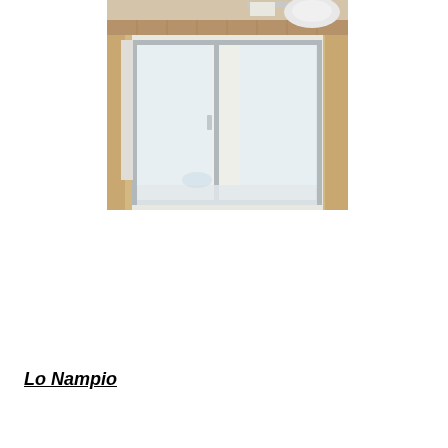[Figure (photo): Top portion of a bathroom showing toilet and towel rail with tiled floor]
[Figure (photo): Frosted glass sliding shower enclosure with aluminum frame, in a bathroom with wooden door frame]
Lo Nampio